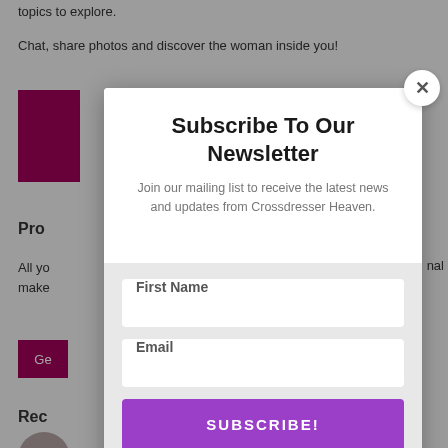topics to explore.
Chat, share photos and discover the woman inside you!
Pro
All yo… nal make…
Subscribe To Our Newsletter
Join our mailing list to receive the latest news and updates from Crossdresser Heaven.
First Name
Email
SUBSCRIBE!
We hate spam too, unsubscribe at any time.